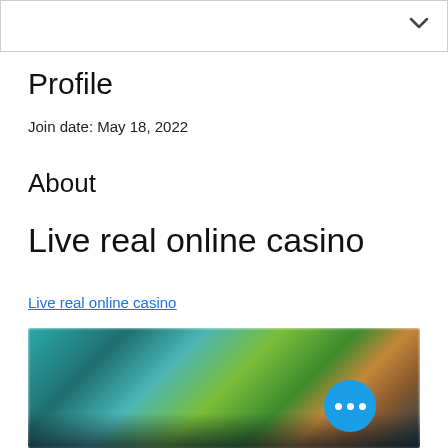[Figure (screenshot): Top navigation bar with a dropdown chevron arrow on the right side]
Profile
Join date: May 18, 2022
About
Live real online casino
Live real online casino
[Figure (photo): Blurred screenshot of a live online casino interface showing dealers and casino games with a blue circular more options button in the bottom right]